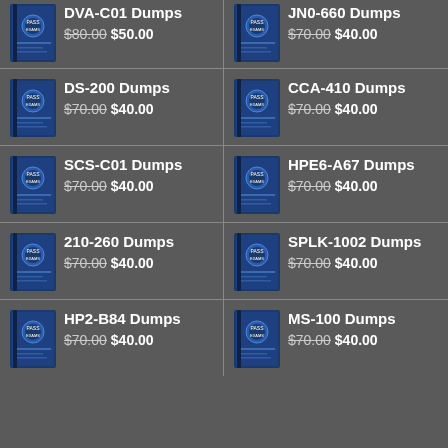DVA-C01 Dumps $80.00 $50.00
JN0-660 Dumps $70.00 $40.00
DS-200 Dumps $70.00 $40.00
CCA-410 Dumps $70.00 $40.00
SCS-C01 Dumps $70.00 $40.00
HPE6-A67 Dumps $70.00 $40.00
210-260 Dumps $70.00 $40.00
SPLK-1002 Dumps $70.00 $40.00
HP2-B84 Dumps $70.00 $40.00
MS-100 Dumps $70.00 $40.00